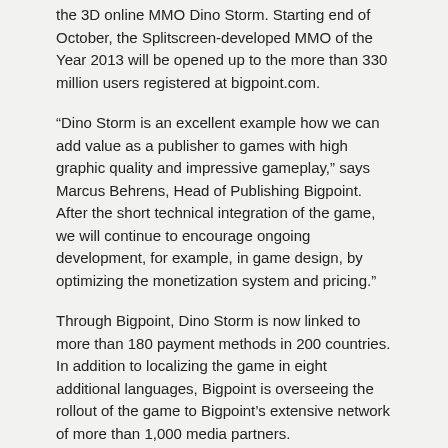the 3D online MMO Dino Storm. Starting end of October, the Splitscreen-developed MMO of the Year 2013 will be opened up to the more than 330 million users registered at bigpoint.com.
“Dino Storm is an excellent example how we can add value as a publisher to games with high graphic quality and impressive gameplay,” says Marcus Behrens, Head of Publishing Bigpoint. After the short technical integration of the game, we will continue to encourage ongoing development, for example, in game design, by optimizing the monetization system and pricing.”
Through Bigpoint, Dino Storm is now linked to more than 180 payment methods in 200 countries. In addition to localizing the game in eight additional languages, Bigpoint is overseeing the rollout of the game to Bigpoint’s extensive network of more than 1,000 media partners.
“Thanks to the partnership with Bigpoint’s free-to-play experts, we’ve acquired valuable support in publishing this fantastic title. Particularly in respect to the direct access to the most important gamer markets and Bigpoint’s large user base, we’re bound to make massive leaps in developing the overall number of our active users,” says Timm Geyer, Managing Director of Splitscreen.